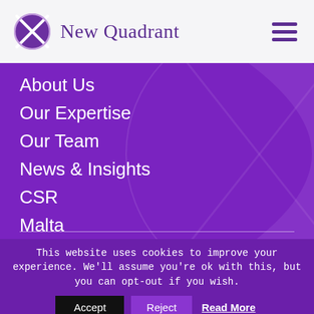New Quadrant
About Us
Our Expertise
Our Team
News & Insights
CSR
Malta
Contact Us
This website uses cookies to improve your experience. We'll assume you're ok with this, but you can opt-out if you wish.
Accept  Reject  Read More